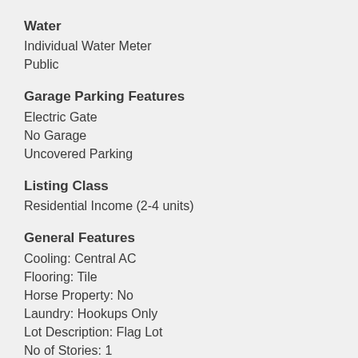Water
Individual Water Meter
Public
Garage Parking Features
Electric Gate
No Garage
Uncovered Parking
Listing Class
Residential Income (2-4 units)
General Features
Cooling: Central AC
Flooring: Tile
Horse Property: No
Laundry: Hookups Only
Lot Description: Flag Lot
No of Stories: 1
Roof: Composition
Security Features: None
Sewer Septic: Sewer - Public